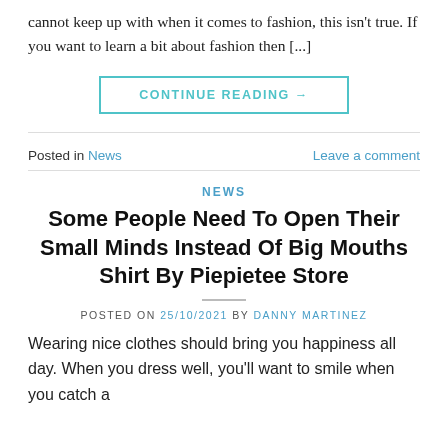cannot keep up with when it comes to fashion, this isn't true. If you want to learn a bit about fashion then [...]
CONTINUE READING →
Posted in News    Leave a comment
NEWS
Some People Need To Open Their Small Minds Instead Of Big Mouths Shirt By Piepietee Store
POSTED ON 25/10/2021 BY DANNY MARTINEZ
Wearing nice clothes should bring you happiness all day. When you dress well, you'll want to smile when you catch a